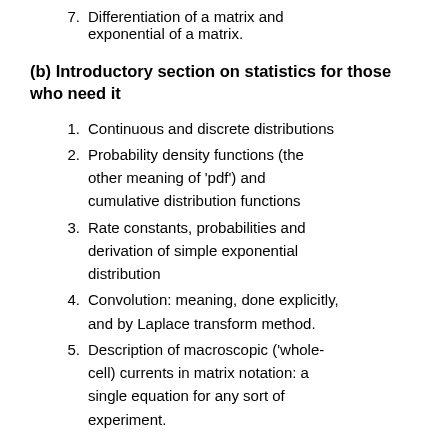7. Differentiation of a matrix and exponential of a matrix.
(b) Introductory section on statistics for those who need it
1. Continuous and discrete distributions
2. Probability density functions (the other meaning of 'pdf') and cumulative distribution functions
3. Rate constants, probabilities and derivation of simple exponential distribution
4. Convolution: meaning, done explicitly, and by Laplace transform method.
5. Description of macroscopic ('whole-cell) currents in matrix notation: a single equation for any sort of experiment.